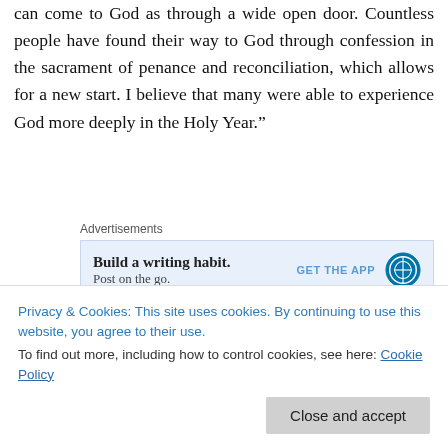can come to God as through a wide open door. Countless people have found their way to God through confession in the sacrament of penance and reconciliation, which allows for a new start. I believe that many were able to experience God more deeply in the Holy Year.”
Advertisements
[Figure (other): WordPress advertisement banner: 'Build a writing habit. Post on the go.' with GET THE APP button and WordPress logo]
And what of those who look at the numbers and say that the Holy Year has not been as successful as
Privacy & Cookies: This site uses cookies. By continuing to use this website, you agree to their use.
To find out more, including how to control cookies, see here: Cookie Policy
Close and accept
such criticism. It is after all about more than